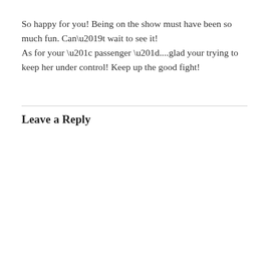So happy for you! Being on the show must have been so much fun. Can’t wait to see it!
As for your “ passenger ”....glad your trying to keep her under control! Keep up the good fight!
Leave a Reply